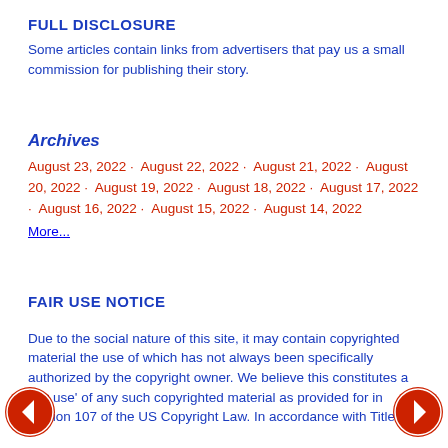FULL DISCLOSURE
Some articles contain links from advertisers that pay us a small commission for publishing their story.
Archives
August 23, 2022 · August 22, 2022 · August 21, 2022 · August 20, 2022 · August 19, 2022 · August 18, 2022 · August 17, 2022 · August 16, 2022 · August 15, 2022 · August 14, 2022
More...
FAIR USE NOTICE
Due to the social nature of this site, it may contain copyrighted material the use of which has not always been specifically authorized by the copyright owner. We believe this constitutes a 'fair use' of any such copyrighted material as provided for in section 107 of the US Copyright Law. In accordance with Title 17